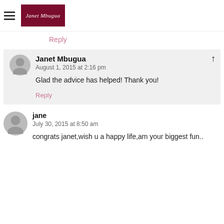Janet Mbugua
Reply
Janet Mbugua
August 1, 2015 at 2:16 pm
Glad the advice has helped! Thank you!
Reply
jane
July 30, 2015 at 8:50 am
congrats janet,wish u a happy life,am your biggest fun..